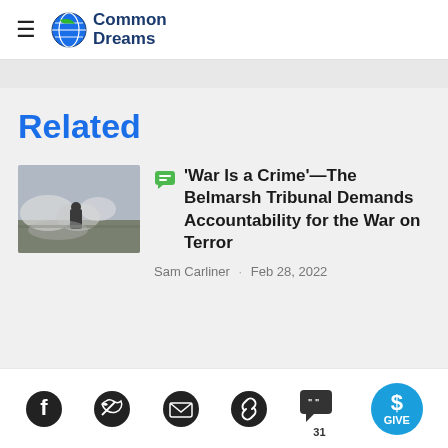Common Dreams
Related
[Figure (photo): Soldier or figure in smoky/misty battlefield scene]
'War Is a Crime'—The Belmarsh Tribunal Demands Accountability for the War on Terror
Sam Carliner · Feb 28, 2022
Social share icons: Facebook, Twitter, Email, Link, Comments (31), GIVE